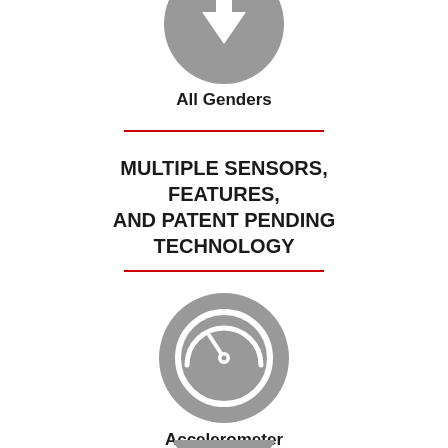[Figure (illustration): Gray circle icon with a downward arrow symbol (partially visible at top of page)]
All Genders
[Figure (other): Red horizontal divider line]
MULTIPLE SENSORS, FEATURES, AND PATENT PENDING TECHNOLOGY
[Figure (other): Red horizontal divider line]
[Figure (illustration): Gray circle icon with a speedometer/accelerometer gauge symbol]
Accelerometer
[Figure (illustration): Gray circle icon partially visible at bottom of page]